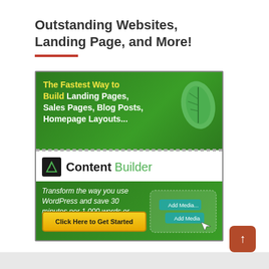Outstanding Websites, Landing Page, and More!
[Figure (illustration): Advertisement banner for Content Builder plugin. Top green section reads 'The Fastest Way to Build Landing Pages, Sales Pages, Blog Posts, Homepage Layouts...' with a green leaf graphic. Middle white bar shows the Content Builder logo and name. Bottom green section has italic text 'Transform the way you use WordPress and save 30 minutes per 1,000 words or more!' with UI mockup on the right. Yellow button at bottom says 'Click Here to Get Started'.]